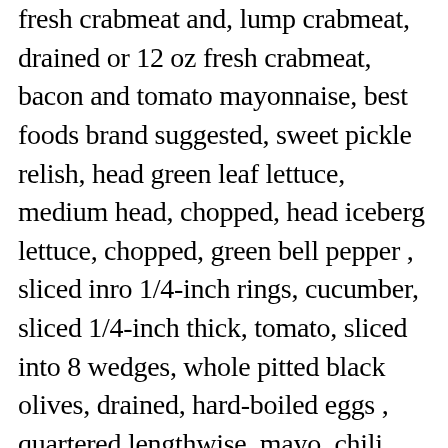fresh crabmeat and, lump crabmeat, drained or 12 oz fresh crabmeat, bacon and tomato mayonnaise, best foods brand suggested, sweet pickle relish, head green leaf lettuce, medium head, chopped, head iceberg lettuce, chopped, green bell pepper , sliced inro 1/4-inch rings, cucumber, sliced 1/4-inch thick, tomato, sliced into 8 wedges, whole pitted black olives, drained, hard-boiled eggs , quartered lengthwise, mayo, chili sauce, chopped scallions, chopped hard boiled egg, pimento filled olives chopped, lemon juice, horseradish, dry mustard, salt & pepper. Credit for the origin of Crab Louie Salad depends on who you talk to and which state of the West Coast you are in. Make a bed of iceberg lettuce on a large plate. I've been getting a few request for fresh salad recipes. In her honor, I've created my